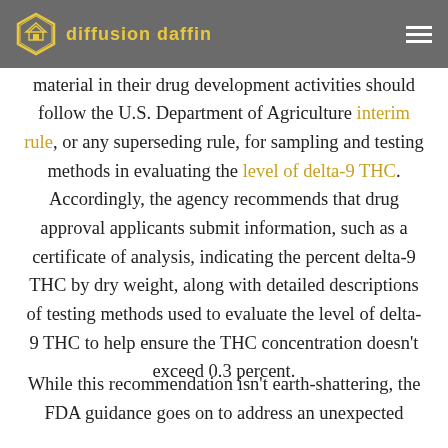diffusion daffin
The guidance provides that those using hemp raw material in their drug development activities should follow the U.S. Department of Agriculture interim rule, or any superseding rule, for sampling and testing methods in evaluating the level of delta-9 THC. Accordingly, the agency recommends that drug approval applicants submit information, such as a certificate of analysis, indicating the percent delta-9 THC by dry weight, along with detailed descriptions of testing methods used to evaluate the level of delta-9 THC to help ensure the THC concentration doesn't exceed 0.3 percent.
While this recommendation isn't earth-shattering, the FDA guidance goes on to address an unexpected